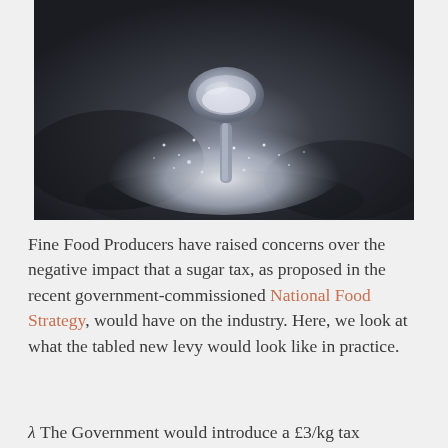[Figure (photo): Close-up black and white photograph of a spoon resting on a dark surface with sugar or salt granules scattered around it.]
Fine Food Producers have raised concerns over the negative impact that a sugar tax, as proposed in the recent government-commissioned National Food Strategy, would have on the industry. Here, we look at what the tabled new levy would look like in practice.
λ The Government would introduce a £3/kg tax